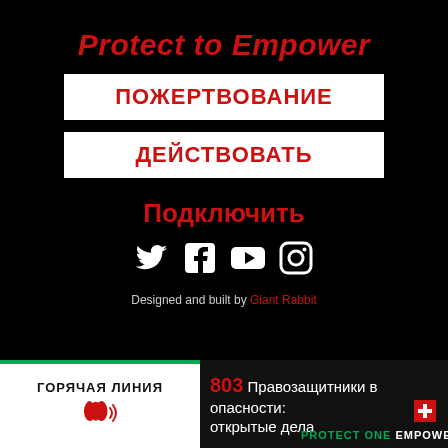Protect to Empower
ПОЖЕРТВОВАНИЕ
ДЕЙСТВОВАТЬ
Подключить
[Figure (illustration): Social media icons: Twitter, Facebook, YouTube, Instagram in white on black background]
Designed and built by Giant Rabbit
ГОРЯЧАЯ ЛИНИЯ
803 Правозащитники в опасности: открытые дела
PROTECT ONE EMPOWER A THOUSAND